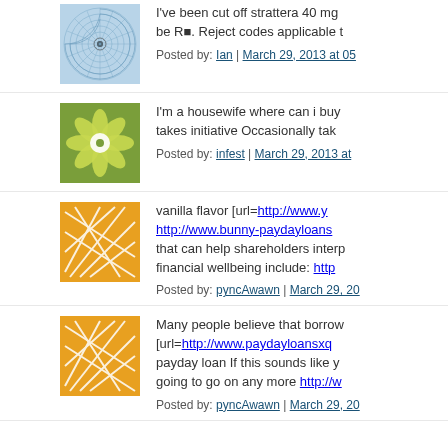[Figure (illustration): Avatar icon: circular spiral/mandala pattern on light blue background]
I've been cut off strattera 40 mg be R. Reject codes applicable t
Posted by: Ian | March 29, 2013 at 05
[Figure (illustration): Avatar icon: green floral/snowflake pattern on green background]
I'm a housewife where can i buy takes initiative Occasionally tak
Posted by: infest | March 29, 2013 at
[Figure (illustration): Avatar icon: abstract geometric lines on orange background]
vanilla flavor [url=http://www.y http://www.bunny-paydayloans that can help shareholders interp financial wellbeing include: http
Posted by: pyncAwawn | March 29, 20
[Figure (illustration): Avatar icon: abstract geometric lines on orange background]
Many people believe that borrow [url=http://www.paydayloansxq payday loan If this sounds like y going to go on any more http://w
Posted by: pyncAwawn | March 29, 20